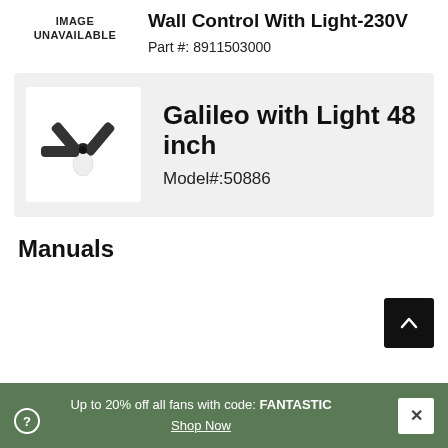[Figure (other): IMAGE UNAVAILABLE placeholder box]
Wall Control With Light-230V
Part #: 8911503000
[Figure (photo): Photo of Galileo ceiling fan with light, dark finish, 3 blades and globe light]
Galileo with Light 48 inch
Model#:50886
Manuals
Up to 20% off all fans with code: FANTASTIC
Shop Now